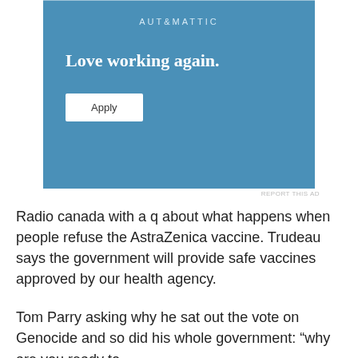[Figure (other): Automattic advertisement banner with blue background. Shows 'AUTOMATTIC' logo at top, tagline 'Love working again.' in bold white, and an 'Apply' button.]
REPORT THIS AD
Radio canada with a q about what happens when people refuse the AstraZenica vaccine. Trudeau says the government will provide safe vaccines approved by our health agency.
Tom Parry asking why he sat out the vote on Genocide and so did his whole government: “why are you ready to